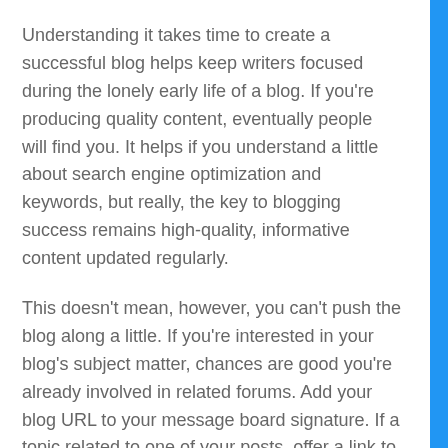Understanding it takes time to create a successful blog helps keep writers focused during the lonely early life of a blog. If you're producing quality content, eventually people will find you. It helps if you understand a little about search engine optimization and keywords, but really, the key to blogging success remains high-quality, informative content updated regularly.
This doesn't mean, however, you can't push the blog along a little. If you're interested in your blog's subject matter, chances are good you're already involved in related forums. Add your blog URL to your message board signature. If a topic related to one of your posts, offer a link to the post.